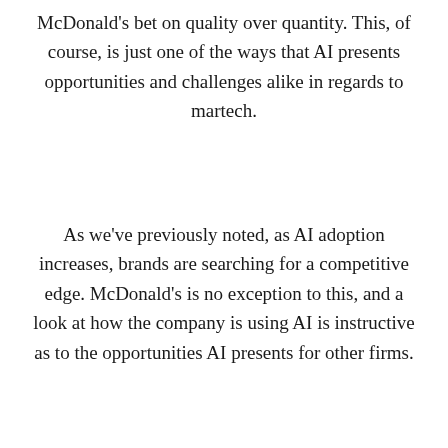McDonald's bet on quality over quantity. This, of course, is just one of the ways that AI presents opportunities and challenges alike in regards to martech.
As we've previously noted, as AI adoption increases, brands are searching for a competitive edge. McDonald's is no exception to this, and a look at how the company is using AI is instructive as to the opportunities AI presents for other firms.